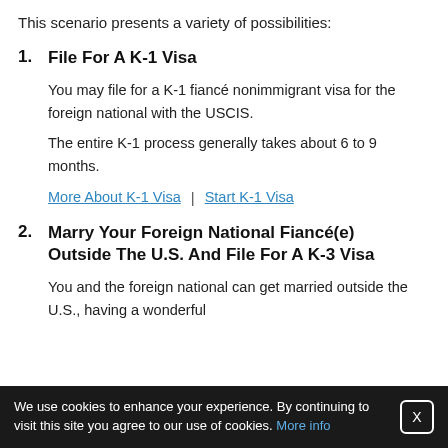This scenario presents a variety of possibilities:
1. File For A K-1 Visa
You may file for a K-1 fiancé nonimmigrant visa for the foreign national with the USCIS.
The entire K-1 process generally takes about 6 to 9 months.
More About K-1 Visa | Start K-1 Visa
2. Marry Your Foreign National Fiancé(e) Outside The U.S. And File For A K-3 Visa
You and the foreign national can get married outside the U.S., having a wonderful
We use cookies to enhance your experience. By continuing to visit this site you agree to our use of cookies. More info